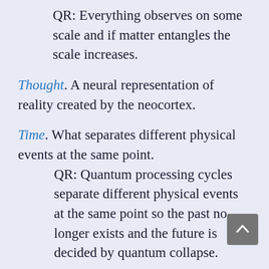QR: Everything observes on some scale and if matter entangles the scale increases.
Thought. A neural representation of reality created by the neocortex.
Time. What separates different physical events at the same point. QR: Quantum processing cycles separate different physical events at the same point so the past no longer exists and the future is decided by quantum collapse.
Time travel. The idea that time is a